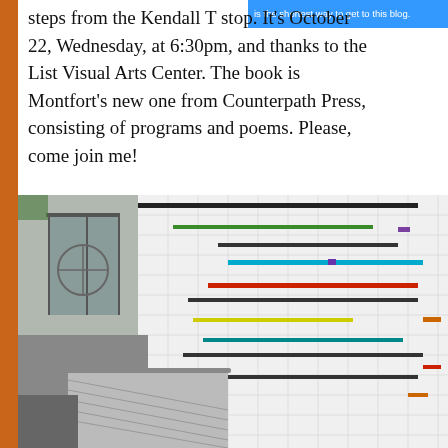steps from the Kendall T stop. It's October 22, Wednesday, at 6:30pm, and thanks to the List Visual Arts Center. The book is Montfort's new one from Counterpath Press, consisting of programs and poems. Please, come join me!
[Figure (photo): Interior of the List Visual Arts Center showing a large tiled wall with colorful horizontal stripes (green, cyan, red, dark, yellow, teal, etc.) and a staircase/escalator area below, viewed from above.]